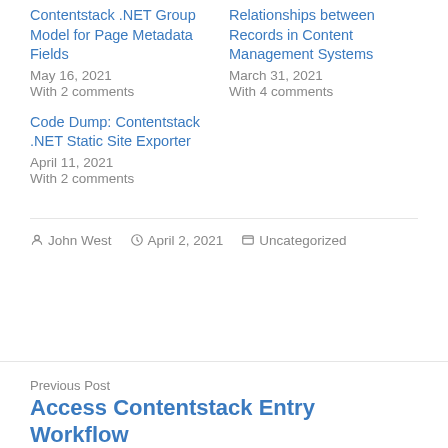Contentstack .NET Group Model for Page Metadata Fields
May 16, 2021
With 2 comments
Relationships between Records in Content Management Systems
March 31, 2021
With 4 comments
Code Dump: Contentstack .NET Static Site Exporter
April 11, 2021
With 2 comments
By John West  April 2, 2021  Uncategorized
Previous Post
Access Contentstack Entry Workflow